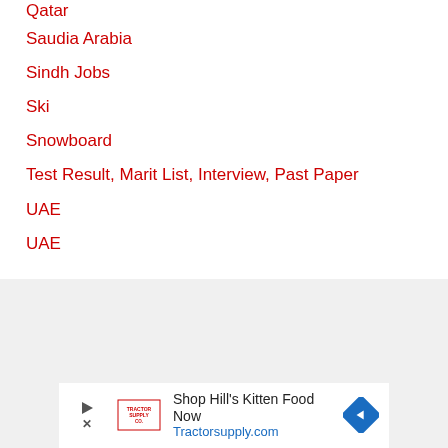Qatar
Saudia Arabia
Sindh Jobs
Ski
Snowboard
Test Result, Marit List, Interview, Past Paper
UAE
UAE
[Figure (screenshot): Advertisement banner for Tractor Supply Co. - Shop Hill's Kitten Food Now, Tractorsupply.com]